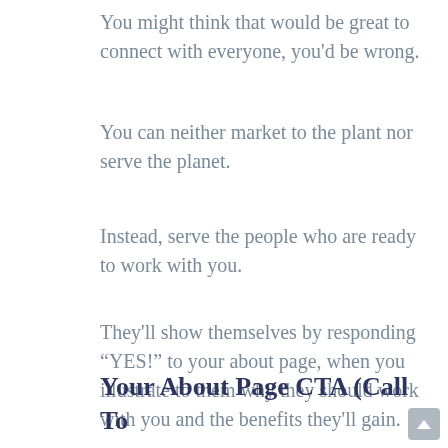You might think that would be great to connect with everyone, you'd be wrong.
You can neither market to the plant nor serve the planet.
Instead, serve the people who are ready to work with you.
They'll show themselves by responding “YES!” to your about page, when you illustrate to them why they should work with you and the benefits they'll gain.
Your About Page CTA (Call To